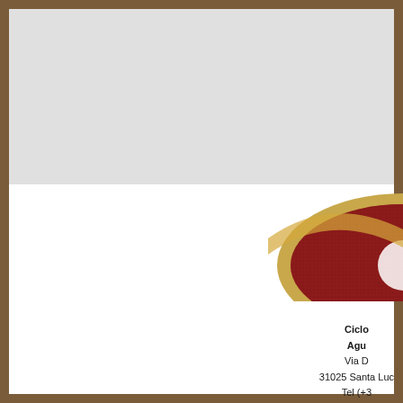[Figure (logo): Partial view of a circular logo with gold border and red background, partially cropped at the right edge of the page]
Ciclo
Agu
Via D
31025 Santa Luc
Tel (+3